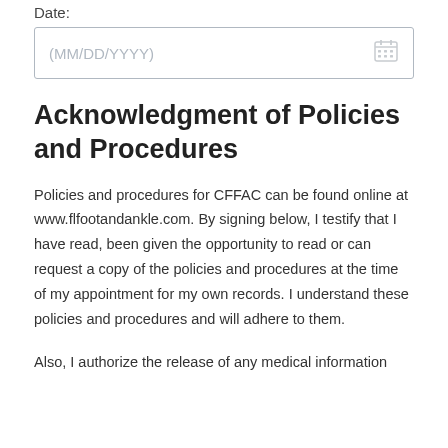Date:
(MM/DD/YYYY)
Acknowledgment of Policies and Procedures
Policies and procedures for CFFAC can be found online at www.flfootandankle.com. By signing below, I testify that I have read, been given the opportunity to read or can request a copy of the policies and procedures at the time of my appointment for my own records. I understand these policies and procedures and will adhere to them.
Also, I authorize the release of any medical information